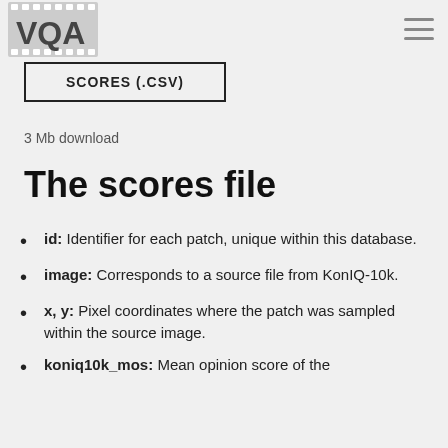VQA
SCORES (.CSV)
3 Mb download
The scores file
id: Identifier for each patch, unique within this database.
image: Corresponds to a source file from KonIQ-10k.
x, y: Pixel coordinates where the patch was sampled within the source image.
koniq10k_mos: Mean opinion score of the